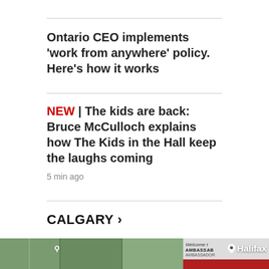Ontario CEO implements 'work from anywhere' policy. Here's how it works
NEW | The kids are back: Bruce McCulloch explains how The Kids in the Hall keep the laughs coming
5 min ago
CALGARY >
[Figure (photo): Photo of glass door entrance to a building, with a sign on the right side showing 'Welcome', 'AMBASSADOR', phone number, and 'NOW OPEN' in red text. A location pin icon with 'Halifax' text overlay appears in the top right.]